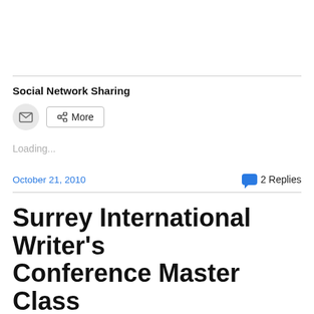Social Network Sharing
[Figure (infographic): Email icon button (circular grey) and a More button with share icon]
Loading...
October 21, 2010
2 Replies
Surrey International Writer's Conference Master Class